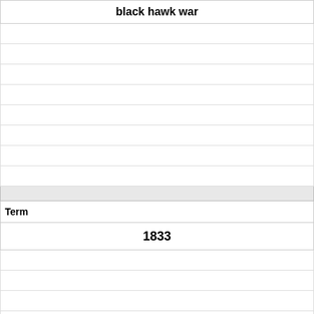black hawk war
Term
1833
Definition